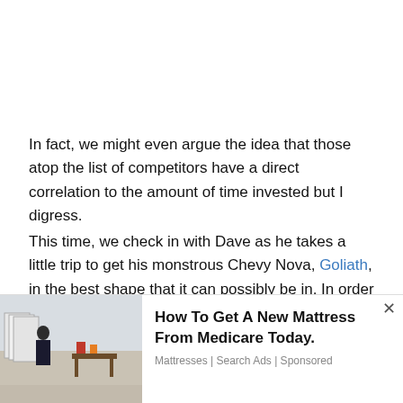In fact, we might even argue the idea that those atop the list of competitors have a direct correlation to the amount of time invested but I digress.
This time, we check in with Dave as he takes a little trip to get his monstrous Chevy Nova, Goliath, in the best shape that it can possibly be in. In order to do that, it's off to FuelTech to get a bit of time on their dyno to diagnose and see where there might be some room for improvement. Every fraction of second matters on race day, after all.
The video starts off with Dave reliving his tangle with
[Figure (photo): Advertisement photo showing a mattress store interior with rows of mattresses and people browsing]
How To Get A New Mattress From Medicare Today.
Mattresses | Search Ads | Sponsored